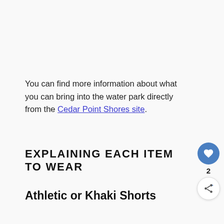You can find more information about what you can bring into the water park directly from the Cedar Point Shores site.
EXPLAINING EACH ITEM TO WEAR
Athletic or Khaki Shorts